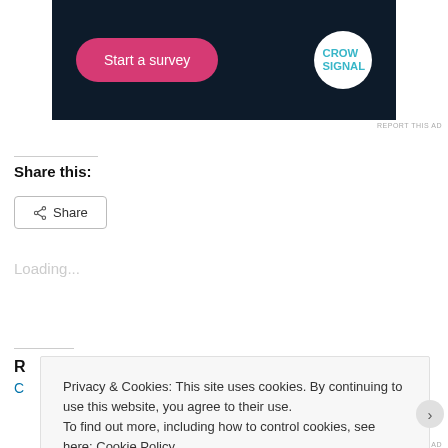[Figure (screenshot): Dark navy advertisement banner with a pink/magenta 'Start a survey' button and a Crowdsignal white circular logo on the right]
REPORT THIS AD
Share this:
Share
Loading...
R
C
Privacy & Cookies: This site uses cookies. By continuing to use this website, you agree to their use.
To find out more, including how to control cookies, see here: Cookie Policy
Close and accept
REPORT THIS AD